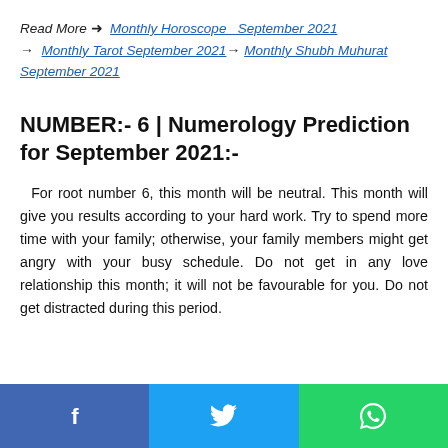Read More ➜  Monthly Horoscope September 2021 → Monthly Tarot September 2021 → Monthly Shubh Muhurat September 2021
NUMBER:- 6 | Numerology Prediction for September 2021:-
For root number 6, this month will be neutral. This month will give you results according to your hard work. Try to spend more time with your family; otherwise, your family members might get angry with your busy schedule. Do not get in any love relationship this month; it will not be favourable for you. Do not get distracted during this period.
Social share buttons: Facebook, Twitter, WhatsApp